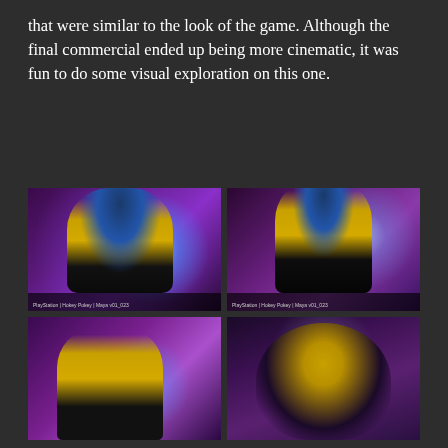that were similar to the look of the game. Although the final commercial ended up being more cinematic, it was fun to do some visual exploration on this one.
[Figure (photo): Four concept art images of a female character with blue hair and yellow outfit, holding glowing energy orbs, set against purple cosmic backgrounds. Top-left: close-up bust shot with swirling blue energy orb. Top-right: full-body shot. Bottom-left: three-quarter view holding orb. Bottom-right: close-up face portrait. Each image has PlayStation / Hokey Pokey / Maya watermarks.]